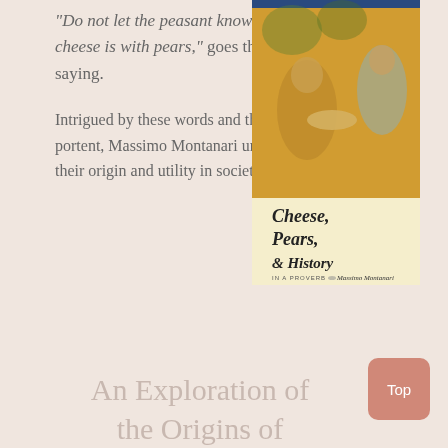"Do not let the peasant know how good cheese is with pears," goes the old saying.
Intrigued by these words and their portent, Massimo Montanari unravels their origin and utility in society.
[Figure (illustration): Book cover of 'Cheese, Pears, & History in a Proverb' by Massimo Montanari, showing a medieval illustration of figures with food on a platter, and handwritten-style title text on a cream background.]
An Exploration of the Origins of